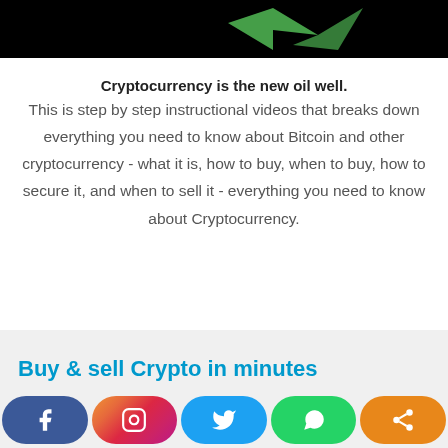[Figure (screenshot): Top portion of a dark/black image showing a green checkmark/logo graphic on black background]
Cryptocurrency is the new oil well.
This is step by step instructional videos that breaks down everything you need to know about Bitcoin and other cryptocurrency - what it is, how to buy, when to buy, how to secure it, and when to sell it - everything you need to know about Cryptocurrency.
Buy & sell Crypto in minutes
[Figure (infographic): Social media share buttons: Facebook (blue), Instagram (gradient), Twitter (blue), WhatsApp (green), Share (orange)]